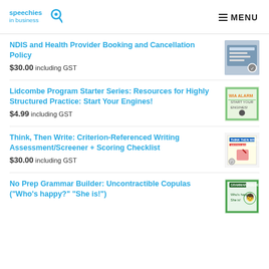speechies in business | MENU
NDIS and Health Provider Booking and Cancellation Policy
$30.00 including GST
Lidcombe Program Starter Series: Resources for Highly Structured Practice: Start Your Engines!
$4.99 including GST
Think, Then Write: Criterion-Referenced Writing Assessment/Screener + Scoring Checklist
$30.00 including GST
No Prep Grammar Builder: Uncontractible Copulas ("Who's happy?" "She is!")